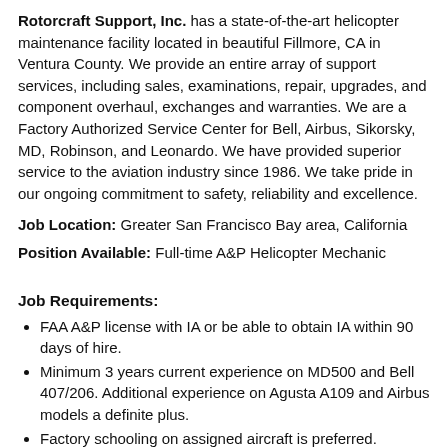Rotorcraft Support, Inc. has a state-of-the-art helicopter maintenance facility located in beautiful Fillmore, CA in Ventura County. We provide an entire array of support services, including sales, examinations, repair, upgrades, and component overhaul, exchanges and warranties. We are a Factory Authorized Service Center for Bell, Airbus, Sikorsky, MD, Robinson, and Leonardo. We have provided superior service to the aviation industry since 1986. We take pride in our ongoing commitment to safety, reliability and excellence.
Job Location: Greater San Francisco Bay area, California
Position Available: Full-time A&P Helicopter Mechanic
Job Requirements:
FAA A&P license with IA or be able to obtain IA within 90 days of hire.
Minimum 3 years current experience on MD500 and Bell 407/206. Additional experience on Agusta A109 and Airbus models a definite plus.
Factory schooling on assigned aircraft is preferred.
Must have full set of mechanics tools.
The successful applicant must demonstrate excellent technical...